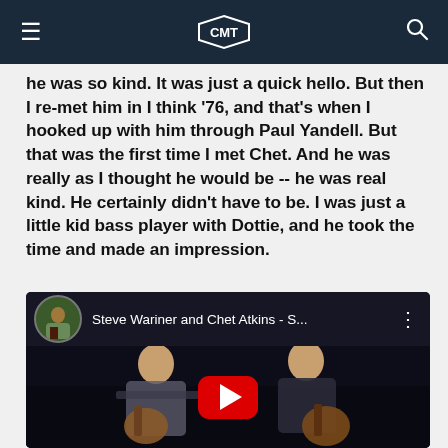CMT
he was so kind. It was just a quick hello. But then I re-met him in I think '76, and that's when I hooked up with him through Paul Yandell. But that was the first time I met Chet. And he was really as I thought he would be -- he was real kind. He certainly didn't have to be. I was just a little kid bass player with Dottie, and he took the time and made an impression.
[Figure (screenshot): YouTube video embed showing Steve Wariner and Chet Atkins playing guitars, with a YouTube play button overlay. Video title reads 'Steve Wariner and Chet Atkins - S...']